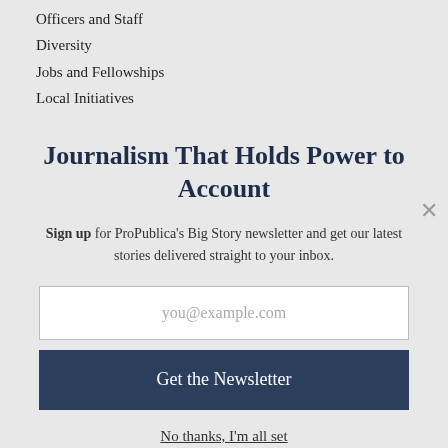Officers and Staff
Diversity
Jobs and Fellowships
Local Initiatives
Journalism That Holds Power to Account
Sign up for ProPublica's Big Story newsletter and get our latest stories delivered straight to your inbox.
you@example.com
Get the Newsletter
No thanks, I'm all set
This site is protected by reCAPTCHA and the Google Privacy Policy and Terms of Service apply.